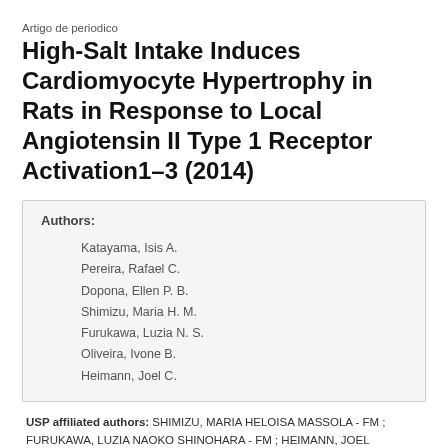Artigo de periodico
High-Salt Intake Induces Cardiomyocyte Hypertrophy in Rats in Response to Local Angiotensin II Type 1 Receptor Activation1–3 (2014)
| Authors: |
| Katayama, Isis A. |
| Pereira, Rafael C. |
| Dopona, Ellen P. B. |
| Shimizu, Maria H. M. |
| Furukawa, Luzia N. S. |
| Oliveira, Ivone B. |
| Heimann, Joel C. |
USP affiliated authors: SHIMIZU, MARIA HELOISA MASSOLA - FM ; FURUKAWA, LUZIA NAOKO SHINOHARA - FM ; HEIMANN, JOEL CLAUDIO - FM